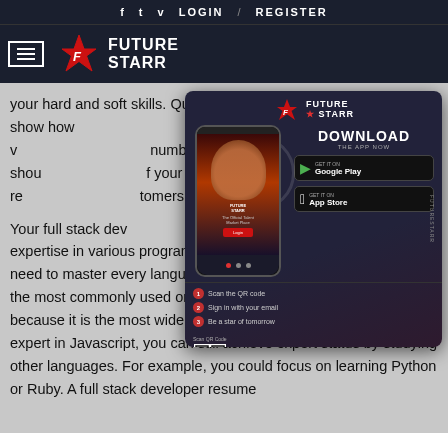f  t  v  LOGIN  /  REGISTER
[Figure (logo): Future Starr logo with hamburger menu on dark navy background]
your hard and soft skills. Quantitative measures of your success show how you added to a project or business, so it is vital to include numbers on your resume. You should have examples of your work, whether that be results with customers that your solutions helped customers.
[Figure (screenshot): Future Starr app download advertisement overlay showing phone mockup, Download the App Now text, Google Play and App Store buttons, QR code, steps to scan and download, and www.futurestarr.com website.]
Your full stack developer resume should highlight your expertise in various programming languages. While you do not need to master every language, it is necessary to be familiar with the most commonly used one. Javascript is a good choice because it is the most widely used language. If you are not yet an expert in Javascript, you can still achieve expert status by studying other languages. For example, you could focus on learning Python or Ruby. A full stack developer resume